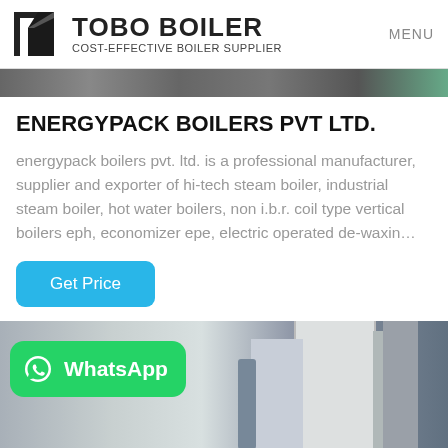TOBO BOILER — COST-EFFECTIVE BOILER SUPPLIER | MENU
[Figure (photo): Partial view of industrial boiler or machinery, dark toned photograph strip at top]
ENERGYPACK BOILERS PVT LTD.
energypack boilers pvt. ltd. is a professional manufacturer, supplier and exporter of hi-tech steam boiler, industrial steam boiler, hot water boilers, non i.b.r. coil type vertical boilers eph, economizer epe, electric operated de-waxin…
[Figure (screenshot): Get Price button — cyan/blue rounded rectangle with white text]
[Figure (photo): Industrial boiler machinery in a factory setting, with WhatsApp green button overlay in bottom-left corner]